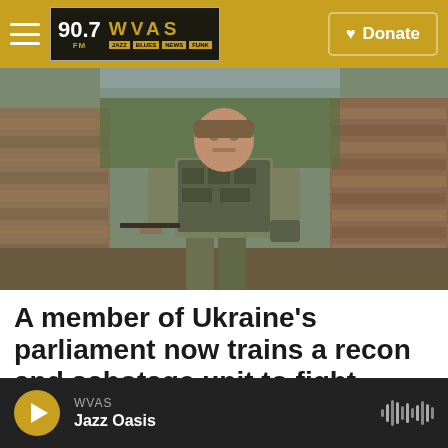WVAS 90.7 FM — Jazz Blues News Funk | Donate
[Figure (photo): A Ukrainian soldier in camouflage gear and tactical vest walks through a bombed-out brick building, carrying a rifle and helmet.]
A member of Ukraine's parliament now trains a recon and sabotage unit to fight Russia
WVAS Jazz Oasis